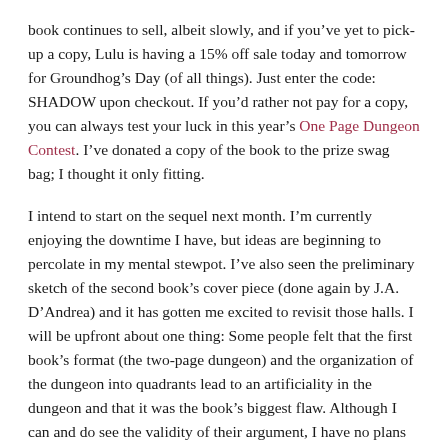book continues to sell, albeit slowly, and if you've yet to pick-up a copy, Lulu is having a 15% off sale today and tomorrow for Groundhog's Day (of all things). Just enter the code: SHADOW upon checkout. If you'd rather not pay for a copy, you can always test your luck in this year's One Page Dungeon Contest. I've donated a copy of the book to the prize swag bag; I thought it only fitting.
I intend to start on the sequel next month. I'm currently enjoying the downtime I have, but ideas are beginning to percolate in my mental stewpot. I've also seen the preliminary sketch of the second book's cover piece (done again by J.A. D'Andrea) and it has gotten me excited to revisit those halls. I will be upfront about one thing: Some people felt that the first book's format (the two-page dungeon) and the organization of the dungeon into quadrants lead to an artificiality in the dungeon and that it was the book's biggest flaw. Although I can and do see the validity of their argument, I have no plans to change format for the sequel. There will be certain modifications—most of which were planned well in advance and hinted at by the evolution of the maps as one descends—but no gross changes. I leave that to the referee to do should he wish to.